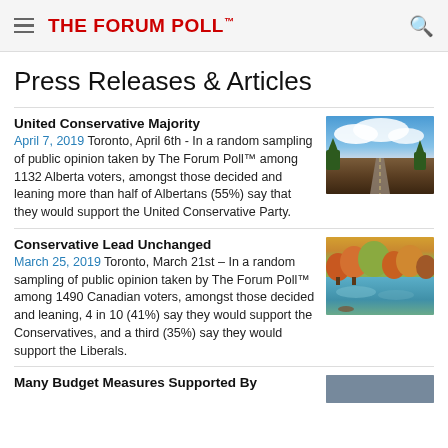THE FORUM POLL™
Press Releases & Articles
United Conservative Majority
April 7, 2019  Toronto, April 6th - In a random sampling of public opinion taken by The Forum Poll™ among 1132 Alberta voters, amongst those decided and leaning more than half of Albertans (55%) say that they would support the United Conservative Party.
[Figure (photo): Landscape photo of a road stretching into the distance under a blue sky with clouds]
Conservative Lead Unchanged
March 25, 2019  Toronto, March 21st – In a random sampling of public opinion taken by The Forum Poll™ among 1490 Canadian voters, amongst those decided and leaning, 4 in 10 (41%) say they would support the Conservatives, and a third (35%) say they would support the Liberals.
[Figure (photo): Landscape photo of a lake with autumn trees reflected in the water]
Many Budget Measures Supported By